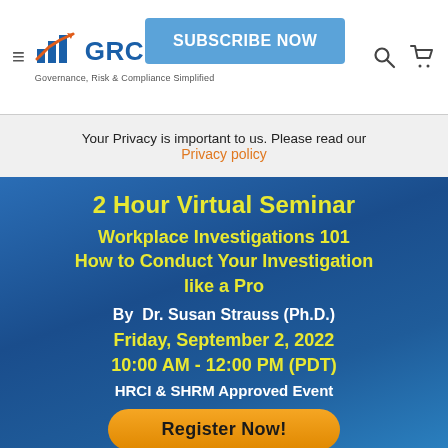GRC Advisory Online — Governance, Risk & Compliance Simplified
Your Privacy is important to us. Please read our Privacy policy
[Figure (infographic): Blue gradient seminar promotional banner with title '2 Hour Virtual Seminar — Workplace Investigations 101 — How to Conduct Your Investigation like a Pro', speaker 'By Dr. Susan Strauss (Ph.D.)', date 'Friday, September 2, 2022', time '10:00 AM - 12:00 PM (PDT)', approval 'HRCI & SHRM Approved Event', and a Register Now button.]